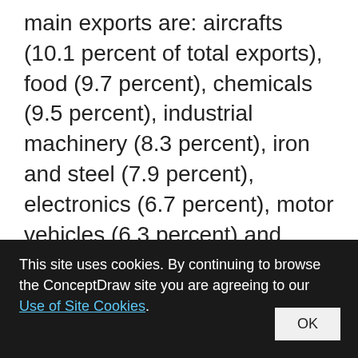main exports are: aircrafts (10.1 percent of total exports), food (9.7 percent), chemicals (9.5 percent), industrial machinery (8.3 percent), iron and steel (7.9 percent), electronics (6.7 percent), motor vehicles (6.3 percent) and pharmaceuticals (6.1 percent). Trade outflows to Europe account for 70 percent of total exports. Main export partners are: Germany (16.6 percent of total exports), Italy (8.2 percent), Spain (7.3 percent), Belgium (7.2 percent), the United
This site uses cookies. By continuing to browse the ConceptDraw site you are agreeing to our Use of Site Cookies.